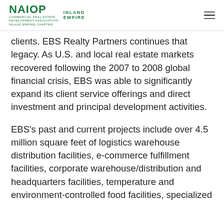NAIOP INLAND EMPIRE
clients. EBS Realty Partners continues that legacy. As U.S. and local real estate markets recovered following the 2007 to 2008 global financial crisis, EBS was able to significantly expand its client service offerings and direct investment and principal development activities.
EBS's past and current projects include over 4.5 million square feet of logistics warehouse distribution facilities, e-commerce fulfillment facilities, corporate warehouse/distribution and headquarters facilities, temperature and environment-controlled food facilities, specialized